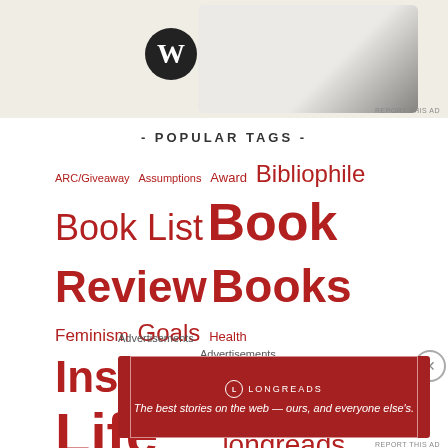[Figure (screenshot): Top advertisement area with WordPress logo and tablet/phone mockup showing food images]
- POPULAR TAGS -
ARC/Giveaway Assumptions Award Bibliophile Book List Book Review Books Feminism Goals Health Inspiration Life Literature longreads Motivation philosophy Reading reading101 Self improvement Speech Toastmasters Virtue Women Work Writing
Advertisements
[Figure (screenshot): Empty advertisement placeholder box]
Advertisements
[Figure (screenshot): Longreads advertisement banner: The best stories on the web — ours, and everyone else's.]